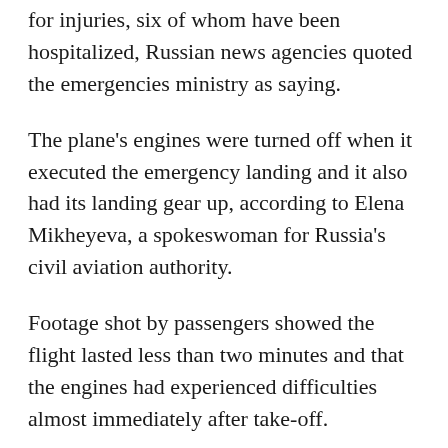for injuries, six of whom have been hospitalized, Russian news agencies quoted the emergencies ministry as saying.
The plane's engines were turned off when it executed the emergency landing and it also had its landing gear up, according to Elena Mikheyeva, a spokeswoman for Russia's civil aviation authority.
Footage shot by passengers showed the flight lasted less than two minutes and that the engines had experienced difficulties almost immediately after take-off.
Vitya Babin, 11, who was on the plane with his mother and sister, said passengers had not been warned there